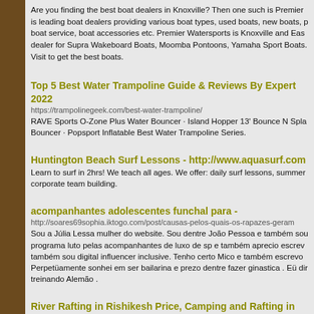Are you finding the best boat dealers in Knoxville? Then one such is Premier is leading boat dealers providing various boat types, used boats, new boats, boat service, boat accessories etc. Premier Watersports is Knoxville and East dealer for Supra Wakeboard Boats, Moomba Pontoons, Yamaha Sport Boats. Visit to get the best boats.
Top 5 Best Water Trampoline Guide & Reviews By Expert 2022
https://trampolinegeek.com/best-water-trampoline/
RAVE Sports O-Zone Plus Water Bouncer · Island Hopper 13' Bounce N Splash Bouncer · Popsport Inflatable Best Water Trampoline Series.
Huntington Beach Surf Lessons - http://www.aquasurf.com
Learn to surf in 2hrs! We teach all ages. We offer: daily surf lessons, summer corporate team building.
acompanhantes adolescentes funchal para -
http://soares69sophia.iktogo.com/post/causas-pelos-quais-os-rapazes-geram
Sou a Júlia Lessa mulher do website. Sou dentre João Pessoa e também sou programa luto pelas acompanhantes de luxo de sp e também aprecio escreve também sou digital influencer inclusive. Tenho certo Mico e também escrevo Perpetüamente sonhei em ser bailarina e prezo dentre fazer ginastica . Eü din treinando Alemão .
River Rafting in Rishikesh Price, Camping and Rafting in Rishikesh
http://www.raftinginrishikesh4u.in/
Team of SacreadExplorations offers lowest river rafting in Rishikesh prices for Season in Rishikesh. We offer Camping and Rafting in Rishikesh packages d